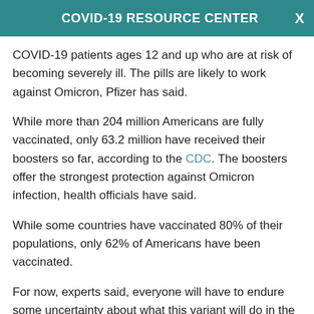COVID-19 RESOURCE CENTER
COVID-19 patients ages 12 and up who are at risk of becoming severely ill. The pills are likely to work against Omicron, Pfizer has said.
While more than 204 million Americans are fully vaccinated, only 63.2 million have received their boosters so far, according to the CDC. The boosters offer the strongest protection against Omicron infection, health officials have said.
While some countries have vaccinated 80% of their populations, only 62% of Americans have been vaccinated.
For now, experts said, everyone will have to endure some uncertainty about what this variant will do in the weeks ahead.